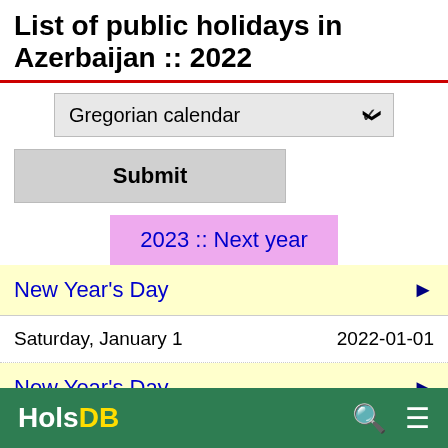List of public holidays in Azerbaijan :: 2022
[Figure (screenshot): Gregorian calendar dropdown selector with chevron]
[Figure (screenshot): Submit button (grey)]
[Figure (screenshot): 2023 :: Next year navigation button (pink/lavender background)]
New Year's Day
Saturday, January 1	2022-01-01
New Year's Day
HolsDB